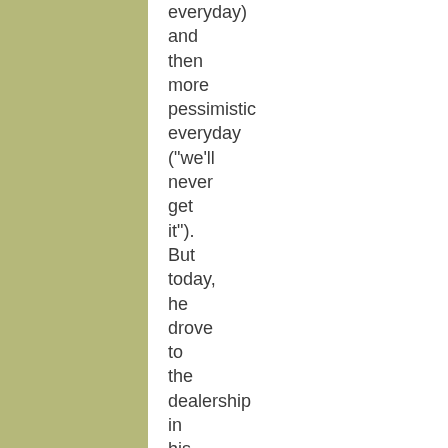everyday) and then more pessimistic everyday ("we'll never get it"). But today, he drove to the dealership in his clunker and left